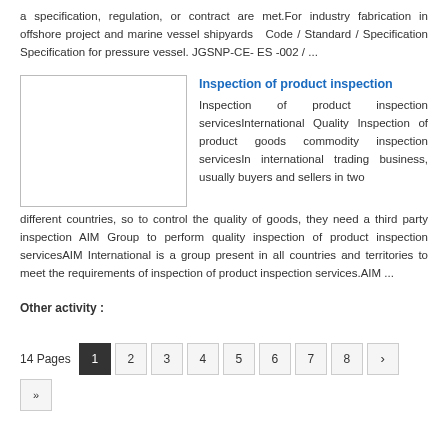a specification, regulation, or contract are met.For industry fabrication in offshore project and marine vessel shipyards   Code / Standard / Specification Specification for pressure vessel. JGSNP-CE- ES -002 / ...
[Figure (illustration): Empty white rectangle with border, placeholder image for inspection of product inspection]
Inspection of product inspection
Inspection of product inspection servicesInternational Quality Inspection of product goods commodity inspection servicesIn international trading business, usually buyers and sellers in two different countries, so to control the quality of goods, they need a third party inspection AIM Group to perform quality inspection of product inspection servicesAIM International is a group present in all countries and territories to meet the requirements of inspection of product inspection services.AIM ...
Other activity :
14 Pages  1  2  3  4  5  6  7  8  ›  »